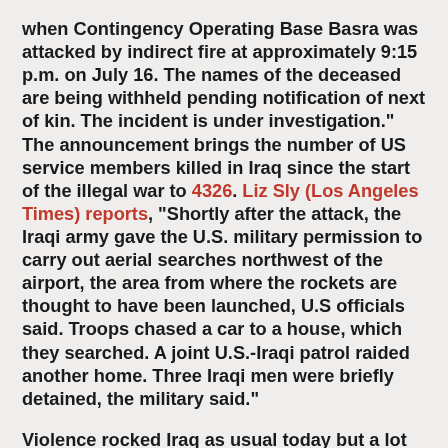when Contingency Operating Base Basra was attacked by indirect fire at approximately 9:15 p.m. on July 16. The names of the deceased are being withheld pending notification of next of kin. The incident is under investigation." The announcement brings the number of US service members killed in Iraq since the start of the illegal war to 4326. Liz Sly (Los Angeles Times) reports, "Shortly after the attack, the Iraqi army gave the U.S. military permission to carry out aerial searches northwest of the airport, the area from where the rockets are thought to have been launched, U.S officials said. Troops chased a car to a house, which they searched. A joint U.S.-Iraqi patrol raided another home. Three Iraqi men were briefly detained, the military said."
Violence rocked Iraq as usual today but a lot of it targeted pilgrims. Mohammed al Dulaimy (McClatchy Newspapers) explains the pilgrimage "is expected to fill the streets of Baghdad on Saturday in the first major security challenge for Iraqi military forces" with "a limited curfew" being imposed and "thousands of additional Iraqi soldiers and police officers… on the